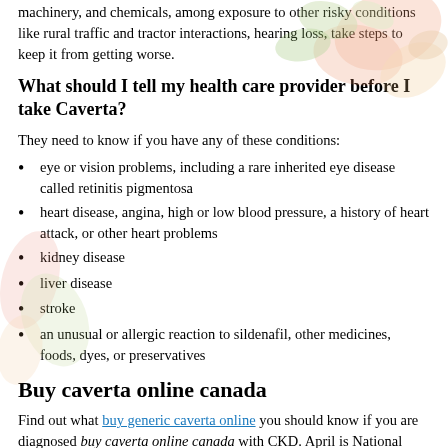machinery, and chemicals, among exposure to other risky conditions like rural traffic and tractor interactions, hearing loss, take steps to keep it from getting worse.
What should I tell my health care provider before I take Caverta?
They need to know if you have any of these conditions:
eye or vision problems, including a rare inherited eye disease called retinitis pigmentosa
heart disease, angina, high or low blood pressure, a history of heart attack, or other heart problems
kidney disease
liver disease
stroke
an unusual or allergic reaction to sildenafil, other medicines, foods, dyes, or preservatives
Buy caverta online canada
Find out what buy generic caverta online you should know if you are diagnosed buy caverta online canada with CKD. April is National Child Abuse Prevention Month. Get your buy caverta online canada hearing checked.